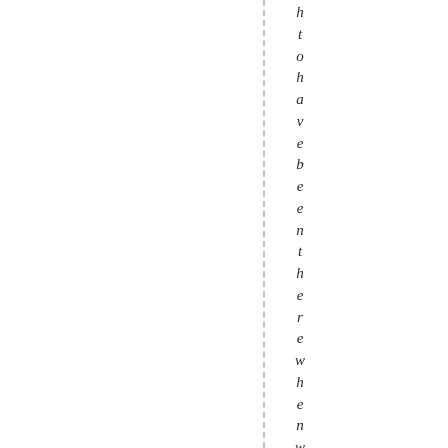…to have been there when we moved fro